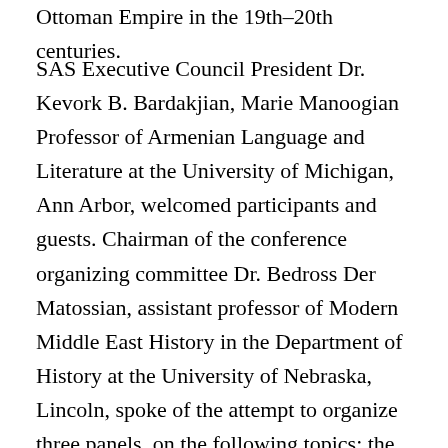Ottoman Empire in the 19th–20th centuries.
SAS Executive Council President Dr. Kevork B. Bardakjian, Marie Manoogian Professor of Armenian Language and Literature at the University of Michigan, Ann Arbor, welcomed participants and guests. Chairman of the conference organizing committee Dr. Bedross Der Matossian, assistant professor of Modern Middle East History in the Department of History at the University of Nebraska, Lincoln, spoke of the attempt to organize three panels, on the following topics: the contribution of the Armenians to Ottoman culture, society, art and architecture; Armenians of the Empire from the Balkan Wars to World War I; and the Armenian Genocide and its aftermath. Unfortunately no submissions were